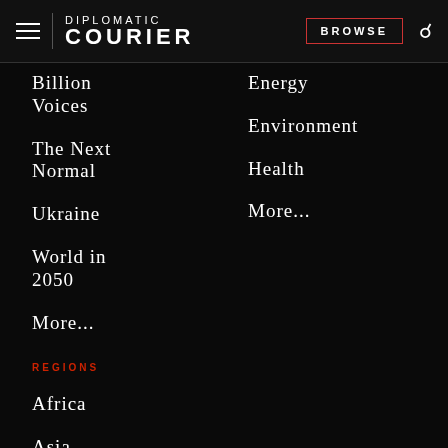DIPLOMATIC COURIER | BROWSE
Billion Voices
The Next Normal
Ukraine
World in 2050
More...
Energy
Environment
Health
More...
REGIONS
Africa
Asia
Central Asia